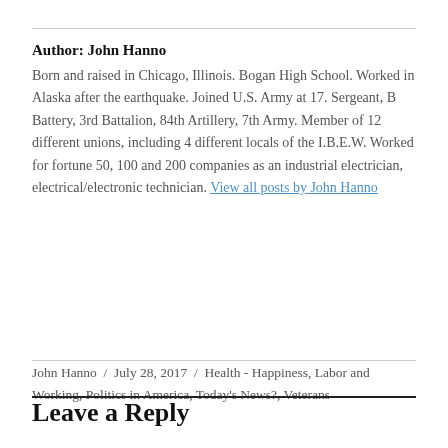Author: John Hanno
Born and raised in Chicago, Illinois. Bogan High School. Worked in Alaska after the earthquake. Joined U.S. Army at 17. Sergeant, B Battery, 3rd Battalion, 84th Artillery, 7th Army. Member of 12 different unions, including 4 different locals of the I.B.E.W. Worked for fortune 50, 100 and 200 companies as an industrial electrician, electrical/electronic technician. View all posts by John Hanno
John Hanno / July 28, 2017 / Health - Happiness, Labor and Working, Politics in America, Today's News?, Veterans
Leave a Reply